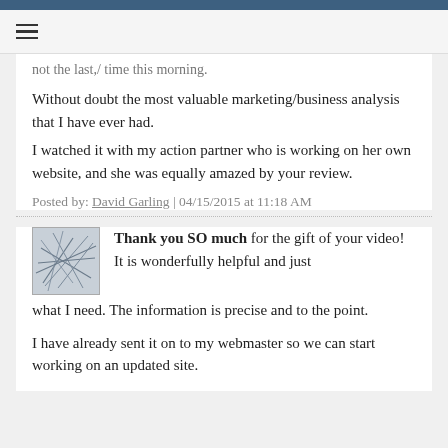≡
not the last,/ time this morning.
Without doubt the most valuable marketing/business analysis that I have ever had.
I watched it with my action partner who is working on her own website, and she was equally amazed by your review.
Posted by: David Garling | 04/15/2015 at 11:18 AM
[Figure (illustration): Abstract scribble/network avatar image, grey tones]
Thank you SO much for the gift of your video! It is wonderfully helpful and just what I need. The information is precise and to the point.
I have already sent it on to my webmaster so we can start working on an updated site.